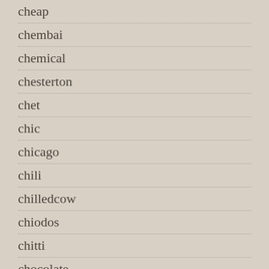cheap
chembai
chemical
chesterton
chet
chic
chicago
chili
chilledcow
chiodos
chitti
chocolate
choose
chords
chris
christina